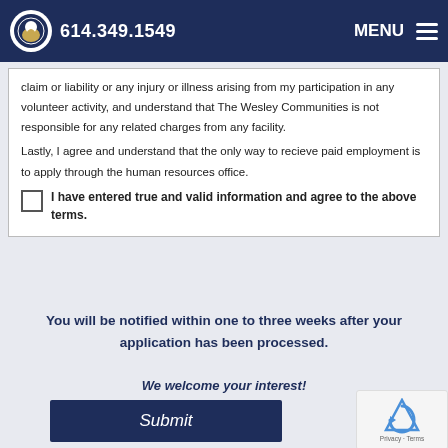614.349.1549  MENU
claim or liability or any injury or illness arising from my participation in any volunteer activity, and understand that The Wesley Communities is not responsible for any related charges from any facility.
Lastly, I agree and understand that the only way to recieve paid employment is to apply through the human resources office.
I have entered true and valid information and agree to the above terms.
You will be notified within one to three weeks after your application has been processed.
We welcome your interest!